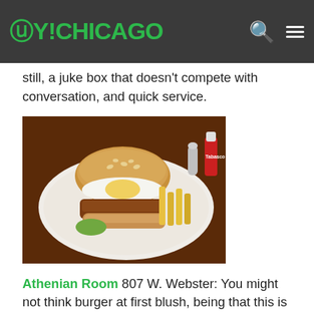OY!CHICAGO
still, a juke box that doesn't compete with conversation, and quick service.
[Figure (photo): A burger on a plate with fries, condiment bottles in background]
Athenian Room  807 W. Webster:  You might not think burger at first blush, being that this is a Greek restaurant, but theirs is juicy and meaty, and you can get it fancied up with feta cheese if you are feeling adventurous.
[Figure (photo): A bowl of food with vegetables on a plate, partially visible]